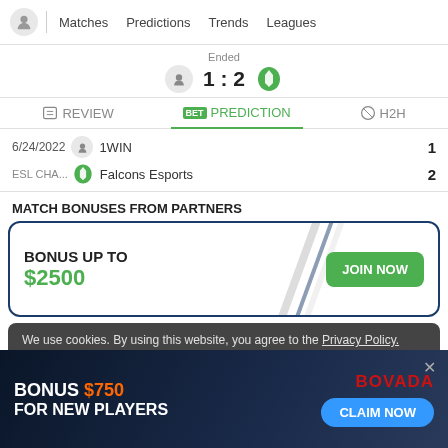Matches  Predictions  Trends  Leagues
Ended 1:2
REVIEW  PREDICTION  H2H
6/24/2022  1WIN  1
ESL CHA...  Falcons Esports  2
MATCH BONUSES FROM PARTNERS
BONUS UP TO $2500  JOIN NOW
We use cookies. By using this website, you agree to the Privacy Policy.
OK
BONUS $750 FOR NEW PLAYERS  BOVADA  CLAIM NOW